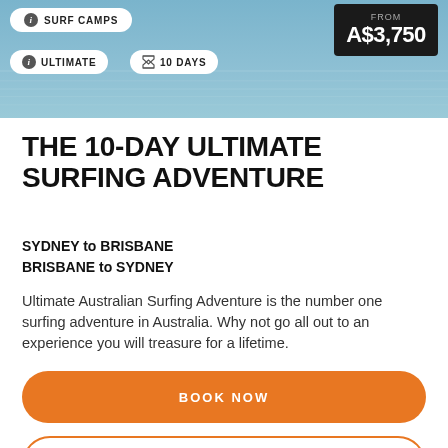[Figure (screenshot): Header image showing ocean/surf background with badge overlays for SURF CAMPS, ULTIMATE, 10 DAYS, and a price box showing FROM A$3,750]
THE 10-DAY ULTIMATE SURFING ADVENTURE
SYDNEY to BRISBANE
BRISBANE to SYDNEY
Ultimate Australian Surfing Adventure is the number one surfing adventure in Australia. Why not go all out to an experience you will treasure for a lifetime.
BOOK NOW
LEARN MORE